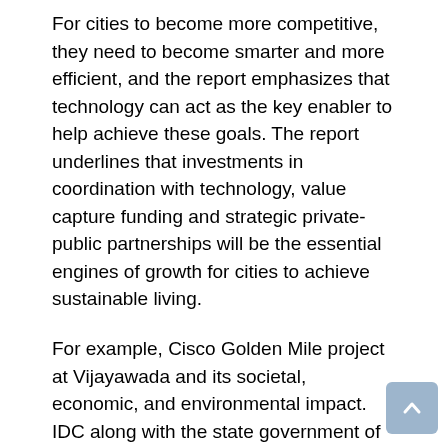For cities to become more competitive, they need to become smarter and more efficient, and the report emphasizes that technology can act as the key enabler to help achieve these goals. The report underlines that investments in coordination with technology, value capture funding and strategic private-public partnerships will be the essential engines of growth for cities to achieve sustainable living.
For example, Cisco Golden Mile project at Vijayawada and its societal, economic, and environmental impact. IDC along with the state government of Andhra Pradesh monitored and analyzed the efficiency and efficacy of the smart solutions deployed in the city against the Smart City Score Card comprising five critical parameters – digital inclusion, citizen convenience and engagement, public safety, revenue impact and environmental impact. IDC observed that 46% of citizens (respondents) have used the smart services and have recognized that technology has